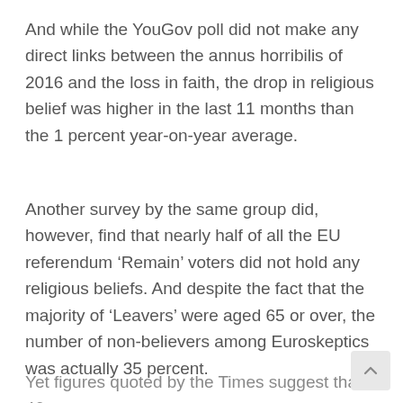And while the YouGov poll did not make any direct links between the annus horribilis of 2016 and the loss in faith, the drop in religious belief was higher in the last 11 months than the 1 percent year-on-year average.
Another survey by the same group did, however, find that nearly half of all the EU referendum ‘Remain’ voters did not hold any religious beliefs. And despite the fact that the majority of ‘Leavers’ were aged 65 or over, the number of non-believers among Euroskeptics was actually 35 percent.
Yet figures quoted by the Times suggest that 46